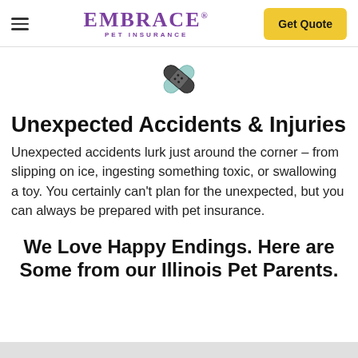EMBRACE PET INSURANCE — Get Quote
[Figure (illustration): Two crossed bandaid/plaster icons in teal and dark dot pattern, representing accidents and injuries]
Unexpected Accidents & Injuries
Unexpected accidents lurk just around the corner – from slipping on ice, ingesting something toxic, or swallowing a toy. You certainly can't plan for the unexpected, but you can always be prepared with pet insurance.
We Love Happy Endings. Here are Some from our Illinois Pet Parents.